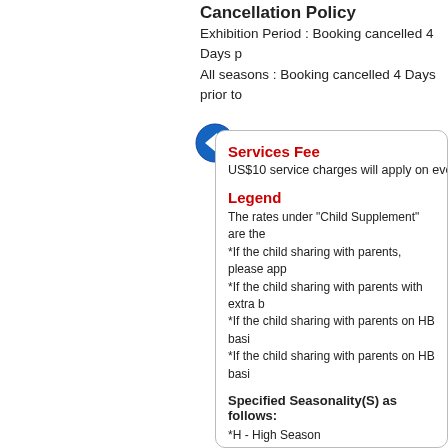Cancellation Policy
Exhibition Period : Booking cancelled 4 Days p...
All seasons : Booking cancelled 4 Days prior to...
[Figure (other): Blue circular back arrow icon followed by red bold text 'Click for Hotel Reserva...']
Services Fee
US$10 service charges will apply on every R...
Legend
The rates under "Child Supplement" are the...
*If the child sharing with parents, please app...
*If the child sharing with parents with extra b...
*If the child sharing with parents on HB basi...
*If the child sharing with parents on HB basi...
Specified Seasonality(S) as follows:
*H - High Season
*L - Low Season
*S - Shoulder/Mid Season
*P - Peak Season
SGL - Single Room
DBL - Double Room
3rd PAX - 3rd Person
Tariff in USD Per Room
Specified Basis (B) as follows: